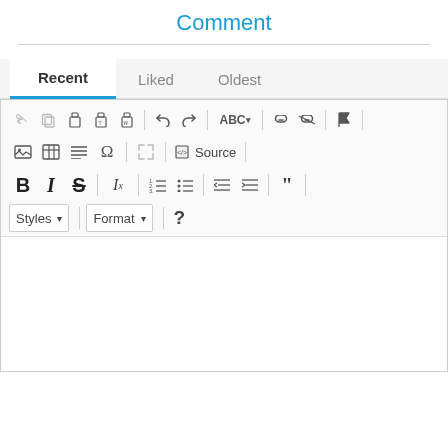Comment
[Figure (screenshot): A web-based comment editor UI showing tabs (Recent, Liked, Oldest) with Recent selected, and a rich text editor toolbar with icons for cut, copy, paste, undo, redo, spell check, link, image, table, formatting, bold, italic, strikethrough, lists, indent, quote, styles dropdown, format dropdown, and help. Below the toolbar is an empty white text area.]